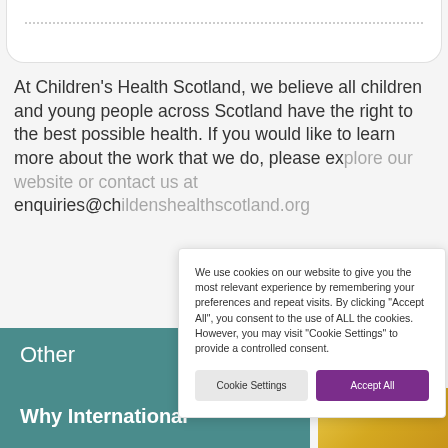At Children's Health Scotland, we believe all children and young people across Scotland have the right to the best possible health. If you would like to learn more about the work that we do, please ex... enquiries@ch...
We use cookies on our website to give you the most relevant experience by remembering your preferences and repeat visits. By clicking "Accept All", you consent to the use of ALL the cookies. However, you may visit "Cookie Settings" to provide a controlled consent.
Cookie Settings
Accept All
Other
Why International